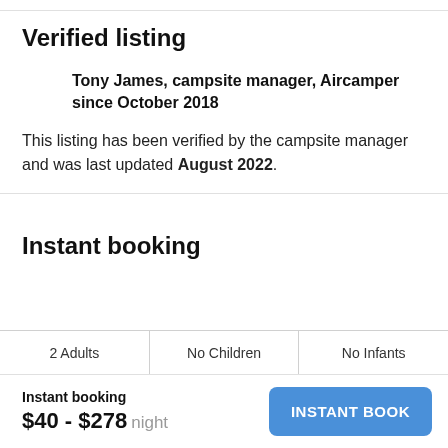Verified listing
Tony James, campsite manager, Aircamper since October 2018
This listing has been verified by the campsite manager and was last updated August 2022.
Instant booking
| 2 Adults | No Children | No Infants |
| --- | --- | --- |
Instant booking
$40 - $278 night
INSTANT BOOK